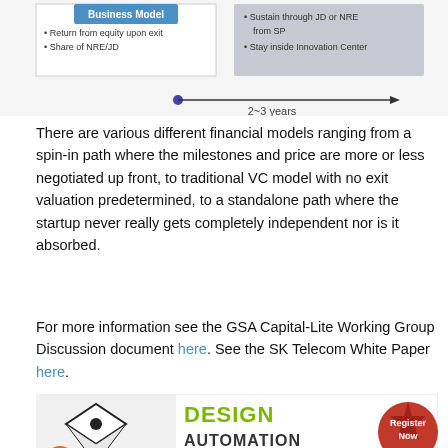[Figure (schematic): Top portion of a diagram showing Business Model box with bullet points 'Return from equity upon exit' and 'Share of NRE/JD', and a box to the right with text 'Sustain through JD or NRE from SP' and 'Stay inside Innovation Center', connected by a timeline arrow labeled '2~3 years']
There are various different financial models ranging from a spin-in path where the milestones and price are more or less negotiated up front, to traditional VC model with no exit valuation predetermined, to a standalone path where the startup never really gets completely independent nor is it absorbed.
For more information see the GSA Capital-Lite Working Group Discussion document here. See the SK Telecom White Paper here.
[Figure (infographic): Design Automation Conference banner: DAC 2013 Austin, TX | June 2-6, with Register Now badge]
Share this post via:
[Figure (infographic): Social sharing icons: LinkedIn, Twitter, Facebook, Email]